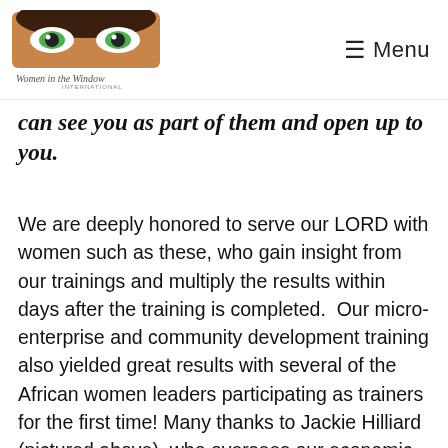Women in the Window International — Menu
can see you as part of them and open up to you.
We are deeply honored to serve our LORD with women such as these, who gain insight from our trainings and multiply the results within days after the training is completed. Our micro-enterprise and community development training also yielded great results with several of the African women leaders participating as trainers for the first time! Many thanks to Jackie Hilliard (pictured above), who oversees our economic development capacity-building team, for facilitating this training. Her heart for Christ